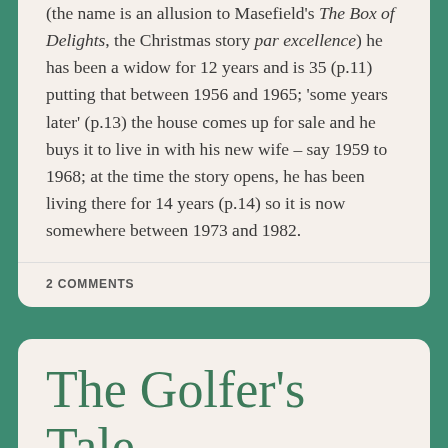(the name is an allusion to Masefield's The Box of Delights, the Christmas story par excellence) he has been a widow for 12 years and is 35 (p.11) putting that between 1956 and 1965; 'some years later' (p.13) the house comes up for sale and he buys it to live in with his new wife – say 1959 to 1968; at the time the story opens, he has been living there for 14 years (p.14) so it is now somewhere between 1973 and 1982.
2 COMMENTS
The Golfer's Tale
POSTED FEBRUARY 23, 2014
Filed under works